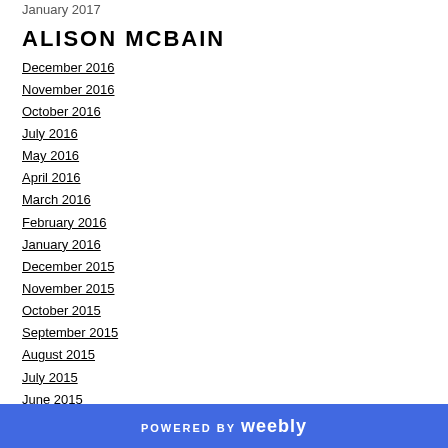January 2017
ALISON MCBAIN
December 2016
November 2016
October 2016
July 2016
May 2016
April 2016
March 2016
February 2016
January 2016
December 2015
November 2015
October 2015
September 2015
August 2015
July 2015
June 2015
POWERED BY weebly